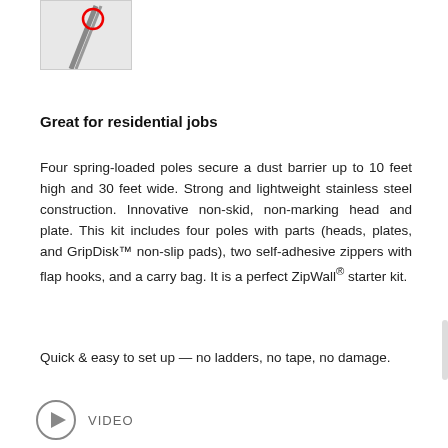[Figure (photo): Small thumbnail image of a product with a red circle highlight on the top portion]
Great for residential jobs
Four spring-loaded poles secure a dust barrier up to 10 feet high and 30 feet wide. Strong and lightweight stainless steel construction. Innovative non-skid, non-marking head and plate. This kit includes four poles with parts (heads, plates, and GripDisk™ non-slip pads), two self-adhesive zippers with flap hooks, and a carry bag. It is a perfect ZipWall® starter kit.
Quick & easy to set up — no ladders, no tape, no damage.
[Figure (illustration): Video play button icon followed by the text VIDEO]